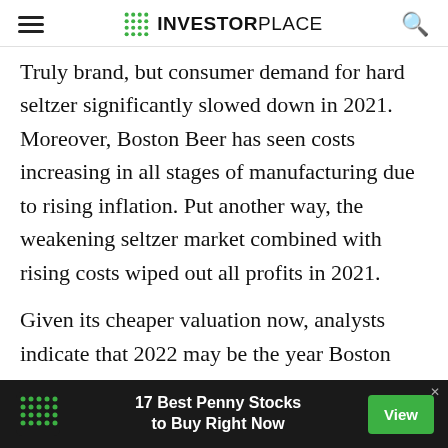INVESTORPLACE
Truly brand, but consumer demand for hard seltzer significantly slowed down in 2021. Moreover, Boston Beer has seen costs increasing in all stages of manufacturing due to rising inflation. Put another way, the weakening seltzer market combined with rising costs wiped out all profits in 2021.
Given its cheaper valuation now, analysts indicate that 2022 may be the year Boston Beer transitions to private ownership. SAM stock hovers around $380 territory, down 63% over the past year. Shares trade at 22.17 times forward earnings and 2.17 times current sales. T
[Figure (infographic): Advertisement banner: '17 Best Penny Stocks to Buy Right Now' with green View button and InvestorPlace logo]